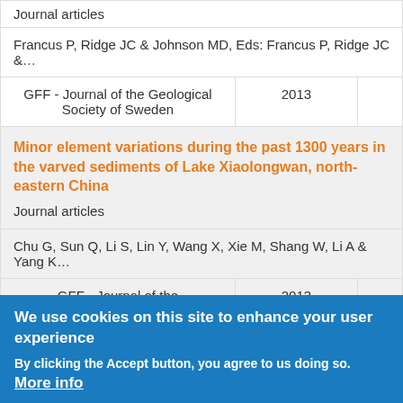Journal articles
Francus P, Ridge JC & Johnson MD, Eds: Francus P, Ridge JC &…
| Journal | Year |  |  |
| --- | --- | --- | --- |
| GFF - Journal of the Geological Society of Sweden | 2013 |  |  |
Minor element variations during the past 1300 years in the varved sediments of Lake Xiaolongwan, north-eastern China
Journal articles
Chu G, Sun Q, Li S, Lin Y, Wang X, Xie M, Shang W, Li A & Yang K…
| Journal | Year |  |  |
| --- | --- | --- | --- |
| GFF - Journal of the | 2013 |  |  |
We use cookies on this site to enhance your user experience
By clicking the Accept button, you agree to us doing so. More info